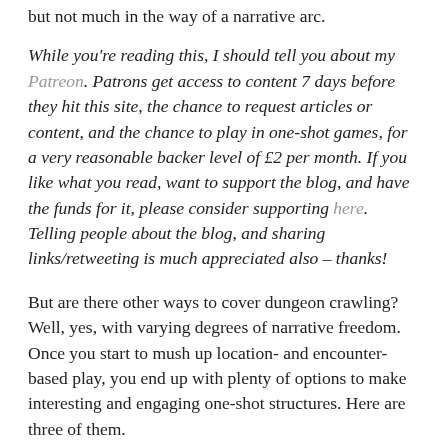but not much in the way of a narrative arc.
While you're reading this, I should tell you about my Patreon. Patrons get access to content 7 days before they hit this site, the chance to request articles or content, and the chance to play in one-shot games, for a very reasonable backer level of £2 per month. If you like what you read, want to support the blog, and have the funds for it, please consider supporting here. Telling people about the blog, and sharing links/retweeting is much appreciated also – thanks!
But are there other ways to cover dungeon crawling? Well, yes, with varying degrees of narrative freedom. Once you start to mush up location- and encounter-based play, you end up with plenty of options to make interesting and engaging one-shot structures. Here are three of them.